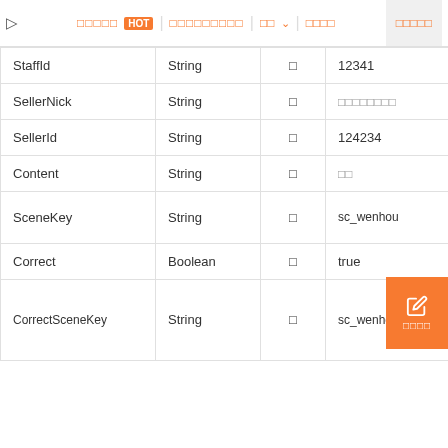▷  □□□□□ HOT  □□□□□□□□□  □□ ∨  □□□□  □□□□□
| Name | Type | Required | Example | Description |
| --- | --- | --- | --- | --- |
| StaffId | String | □ | 12341 | □□□□ID |
| SellerNick | String | □ | □□□□□□□□ | □□nick |
| SellerId | String | □ | 124234 | □□ID |
| Content | String | □ | □□ | □□□□□□ |
| SceneKey | String | □ | sc_wenhou | □□□□□□□□□□□□□□ |
| Correct | Boolean | □ | true | □□□□□□ |
| CorrectSceneKey | String | □ | sc_wenhou | IsCo□□□□ IsCo |